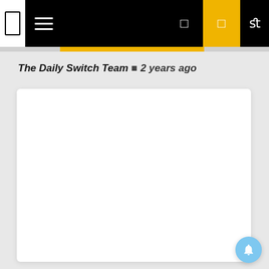Navigation bar with logo, hamburger menu, icons
The Daily Switch Team · 2 years ago
[Figure (other): White card placeholder content area with rounded corners and drop shadow]
[Figure (other): Blue notification bell button in bottom right corner]